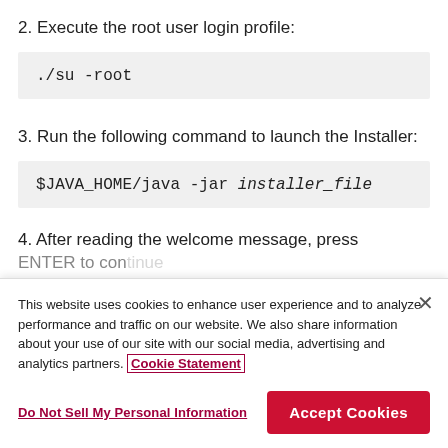2. Execute the root user login profile:
./su -root
3. Run the following command to launch the Installer:
$JAVA_HOME/java -jar installer_file
4. After reading the welcome message, press ENTER to continue.
This website uses cookies to enhance user experience and to analyze performance and traffic on our website. We also share information about your use of our site with our social media, advertising and analytics partners. Cookie Statement
Do Not Sell My Personal Information
Accept Cookies